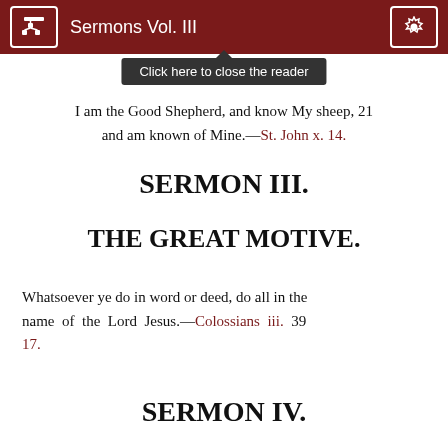Sermons Vol. III
Click here to close the reader
I am the Good Shepherd, and know My sheep, and am known of Mine.—St. John x. 14. 21
SERMON III.
THE GREAT MOTIVE.
Whatsoever ye do in word or deed, do all in the name of the Lord Jesus.—Colossians iii. 17. 39
SERMON IV.